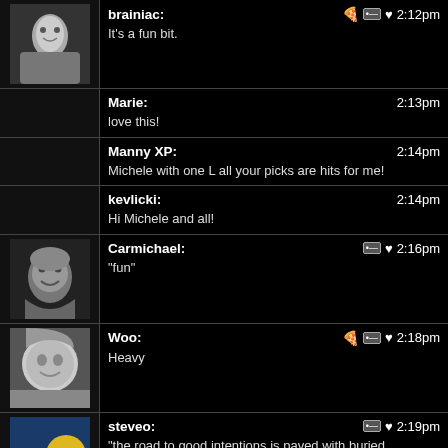brainiac: It's a fun bit. 2:12pm
Marie: love this! 2:13pm
Manny XP: Michele with one L all your picks are hits for me! 2:14pm
kevlicki: Hi Michele and all! 2:14pm
Carmichael: "fun" 2:16pm
Woo: Heavy 2:18pm
steveo: "the road to good intentions is paved with buried hatchets" 2:19pm
Phillippe Bastille: @Steveo I like that. I'm putting that on my business card 2:20pm